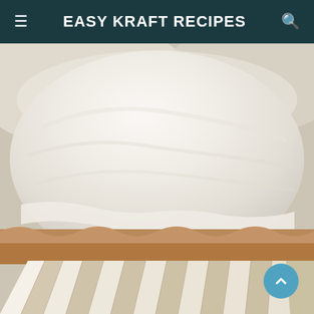EASY KRAFT RECIPES
[Figure (photo): Close-up photograph of a glazed cupcake in a white paper liner. The cupcake is covered in a thick, smooth white/cream-colored icing glaze that drips slightly over the edges. The muffin cup has distinctive white and tan ribbed paper liner folds fanning out at the bottom. Additional glazed cupcakes are partially visible in the blurred background.]